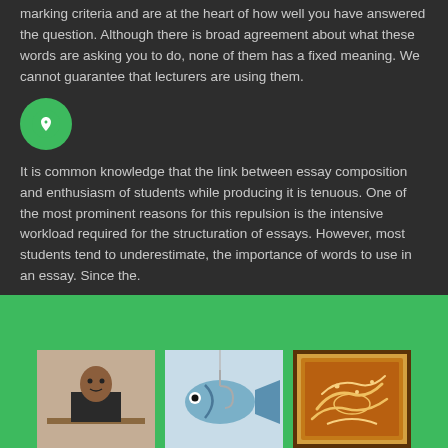marking criteria and are at the heart of how well you have answered the question. Although there is broad agreement about what these words are asking you to do, none of them has a fixed meaning. We cannot guarantee that lecturers are using them.
[Figure (illustration): Green circle icon with a heart/location pin symbol inside]
It is common knowledge that the link between essay composition and enthusiasm of students while producing it is tenuous. One of the most prominent reasons for this repulsion is the intensive workload required for the structuration of essays. However, most students tend to underestimate, the importance of words to use in an essay. Since the.
[Figure (photo): Three images at the bottom on a green background: a person (portrait photo), a fish image, and an ornate calligraphy/artwork in a frame]